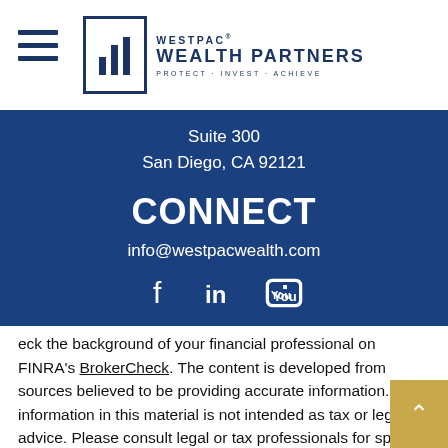[Figure (logo): Westpac Wealth Partners logo with bar chart icon and tagline PROTECT · INVEST · ACHIEVE]
Suite 300
San Diego, CA 92121
CONNECT
info@westpacwealth.com
[Figure (illustration): Social media icons: Facebook, LinkedIn, YouTube]
eck the background of your financial professional on FINRA's BrokerCheck. The content is developed from sources believed to be providing accurate information. The information in this material is not intended as tax or legal advice. Please consult legal or tax professionals for specific information regarding your individual situation. Some of this material was developed and produced by FMG Suite to provide information on a topic that may be of interest. FMG Suite is not affiliated with the named